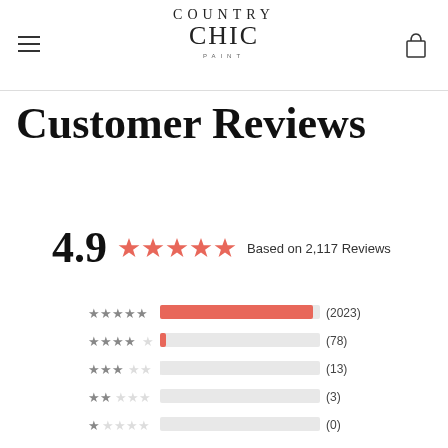Country Chic Paint
Customer Reviews
[Figure (infographic): Rating summary showing 4.9 stars out of 5 based on 2,117 reviews, with a breakdown bar chart showing: 5 stars (2023), 4 stars (78), 3 stars (13), 2 stars (3), 1 star (0)]
4.9 ★★★★★ Based on 2,117 Reviews
| Stars | Bar | Count |
| --- | --- | --- |
| ★★★★★ |  | (2023) |
| ★★★★☆ |  | (78) |
| ★★★☆☆ |  | (13) |
| ★★☆☆☆ |  | (3) |
| ★☆☆☆☆ |  | (0) |